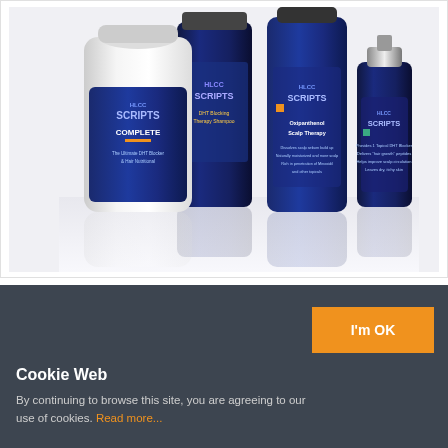[Figure (photo): HLCC Scripts product line showing four bottles: a large white supplement bottle labeled 'HLCC Scripts Complete - The Ultimate DHT Blocker & Hair Nutritional', a medium dark blue bottle labeled 'DHT Blocking Therapy Shampoo', a large blue bottle labeled 'HLCC Scripts Oxipanthenol Scalp Therapy', and a smaller blue bottle labeled 'HLCC Scripts'. Products are arranged on a reflective white surface.]
I'm OK
Cookie Web
By continuing to browse this site, you are agreeing to our use of cookies. Read more...